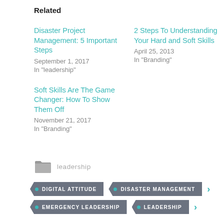Related
Disaster Project Management: 5 Important Steps
September 1, 2017
In "leadership"
2 Steps To Understanding Your Hard and Soft Skills
April 25, 2013
In "Branding"
Soft Skills Are The Game Changer: How To Show Them Off
November 21, 2017
In "Branding"
leadership
DIGITAL ATTITUDE  DISASTER MANAGEMENT  EMERGENCY LEADERSHIP  LEADERSHIP